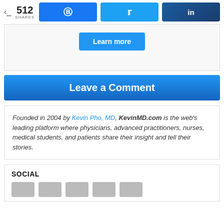512 SHARES | Facebook | Twitter | LinkedIn
Learn more
Leave a Comment
Founded in 2004 by Kevin Pho, MD, KevinMD.com is the web’s leading platform where physicians, advanced practitioners, nurses, medical students, and patients share their insight and tell their stories.
SOCIAL